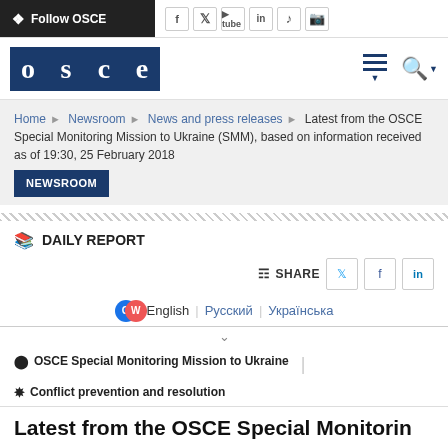Follow OSCE
[Figure (logo): OSCE organization logo with dark blue letter boxes]
Home > Newsroom > News and press releases > Latest from the OSCE Special Monitoring Mission to Ukraine (SMM), based on information received as of 19:30, 25 February 2018
NEWSROOM
DAILY REPORT
SHARE
English | Русский | Українська
OSCE Special Monitoring Mission to Ukraine | Conflict prevention and resolution
Latest from the OSCE Special Monitorin